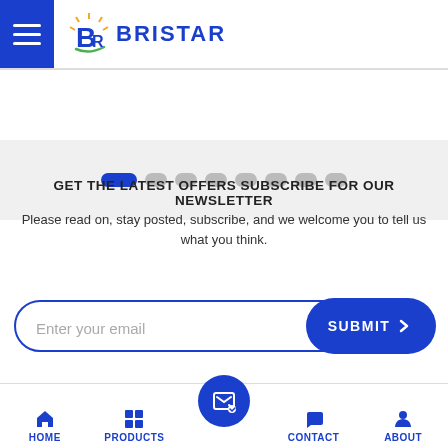[Figure (logo): Bristar company logo with hamburger menu icon and stylized B with sun rays icon, blue text BRISTAR]
[Figure (infographic): Slider pagination dots row: one active blue wide dot followed by seven grey inactive dots]
GET THE LATEST OFFERS SUBSCRIBE FOR OUR NEWSLETTER
Please read on, stay posted, subscribe, and we welcome you to tell us what you think.
[Figure (infographic): Email subscription input field with placeholder 'Enter your email' and blue SUBMIT button with chevron]
[Figure (infographic): Bottom navigation bar with HOME, PRODUCTS, center subscribe icon, CONTACT, ABOUT tabs]